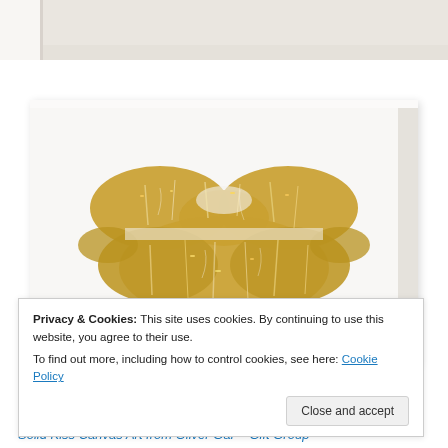[Figure (photo): Top portion of a lips print artwork on canvas, showing white/grey background]
Lips Print – Made by Girl
[Figure (photo): Gold metallic lips print on white canvas art – Solid Kiss Canvas Art from Oliver Gar – Gift Group]
Privacy & Cookies: This site uses cookies. By continuing to use this website, you agree to their use.
To find out more, including how to control cookies, see here: Cookie Policy
Close and accept
Solid Kiss Canvas Art from Oliver Gar – Gift Group